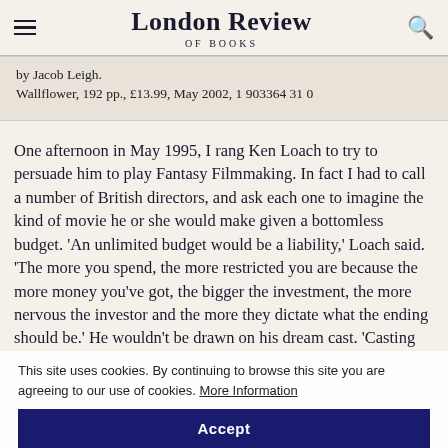London Review OF BOOKS
by Jacob Leigh.
Wallflower, 192 pp., £13.99, May 2002, 1 903364 31 0
One afternoon in May 1995, I rang Ken Loach to try to persuade him to play Fantasy Filmmaking. In fact I had to call a number of British directors, and ask each one to imagine the kind of movie he or she would make given a bottomless budget. 'An unlimited budget would be a liability,' Loach said. 'The more you spend, the more restricted you are because the more money you've got, the bigger the investment, the more nervous the investor and the more they dictate what the ending should be.' He wouldn't be drawn on his dream cast. 'Casting
This site uses cookies. By continuing to browse this site you are agreeing to our use of cookies. More Information
Accept